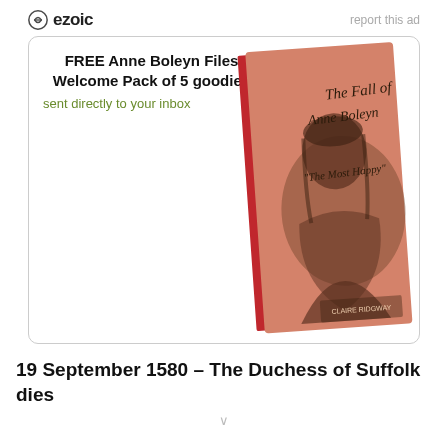ezoic   report this ad
[Figure (screenshot): Advertisement box with rounded border containing text 'FREE Anne Boleyn Files Welcome Pack of 5 goodies sent directly to your inbox' and an image of a book titled 'The Fall of Anne Boleyn The Most Happy']
19 September 1580 – The Duchess of Suffolk dies